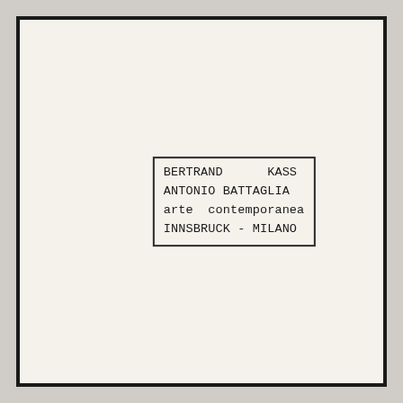BERTRAND      KASS
ANTONIO BATTAGLIA
arte  contemporanea
INNSBRUCK - MILANO